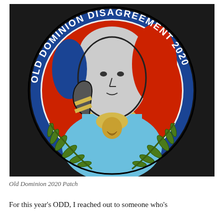[Figure (photo): A circular embroidered patch reading 'OLD DOMINION DISAGREEMENT 2020' around the border in white text on a dark blue background. The center shows a stylized portrait of George Washington in black and white on a red background, wearing a light blue colonial uniform with yellow details. Green laurel branches frame the bottom of the patch. The patch sits on a dark surface.]
Old Dominion 2020 Patch
For this year's ODD, I reached out to someone who's